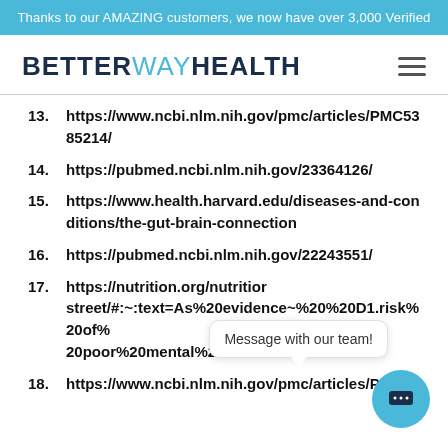Thanks to our AMAZING customers, we now have over 3,000 Verified
[Figure (logo): BetterWayHealth logo with hamburger menu icon]
13. https://www.ncbi.nlm.nih.gov/pmc/articles/PMC5385214/
14. https://pubmed.ncbi.nlm.nih.gov/23364126/
15. https://www.health.harvard.edu/diseases-and-conditions/the-gut-brain-connection
16. https://pubmed.ncbi.nlm.nih.gov/22243551/
17. https://nutrition.org/nutrition-street/#:~:text=As%20evidence%20%20D1.risk%20of%20poor%20mental%20health.
18. https://www.ncbi.nlm.nih.gov/pmc/articles/PMC5c